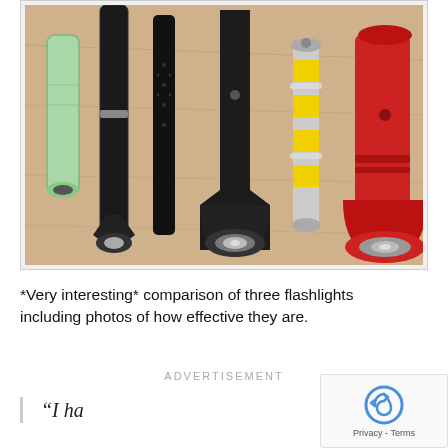[Figure (photo): A collection of flashlights of various sizes and styles laid out on a wooden surface. From left to right: a small green cylindrical flashlight, a long slim black flashlight, a slim black flashlight with a patterned grip, a medium black flashlight, a compact flashlight wrapped with batteries, and a red flashlight.]
*Very interesting* comparison of three flashlights including photos of how effective they are.
ADVERTISEMENT
“I ha